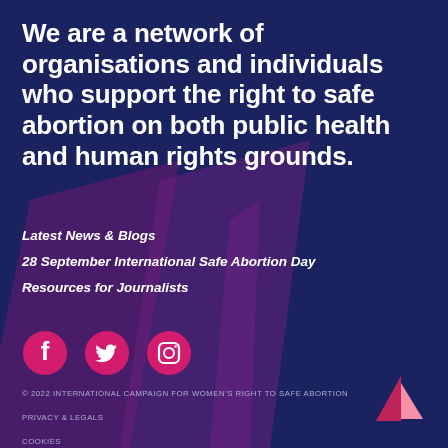We are a network of organisations and individuals who support the right to safe abortion on both public health and human rights grounds.
Latest News & Blogs
28 September International Safe Abortion Day
Resources for Journalists
[Figure (illustration): Three pink social media icons: Facebook, Twitter, Instagram]
© 2022 INTERNATIONAL CAMPAIGN FOR WOMEN'S RIGHT TO SAFE ABORTION
PRIVACY & LEGALS
COOKIES
[Figure (logo): Pink and light pink triangular logo in bottom right corner]